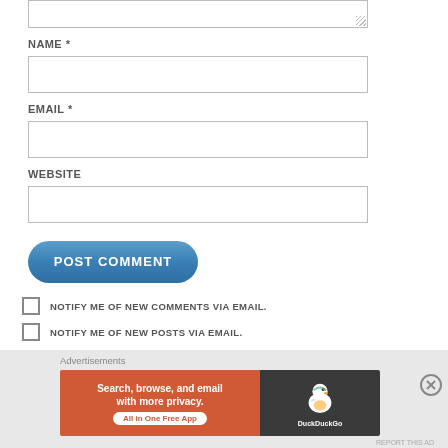NAME *
EMAIL *
WEBSITE
POST COMMENT
NOTIFY ME OF NEW COMMENTS VIA EMAIL.
NOTIFY ME OF NEW POSTS VIA EMAIL.
Advertisements
[Figure (infographic): DuckDuckGo advertisement banner: orange left panel with text 'Search, browse, and email with more privacy. All in One Free App', dark right panel with DuckDuckGo duck logo and brand name.]